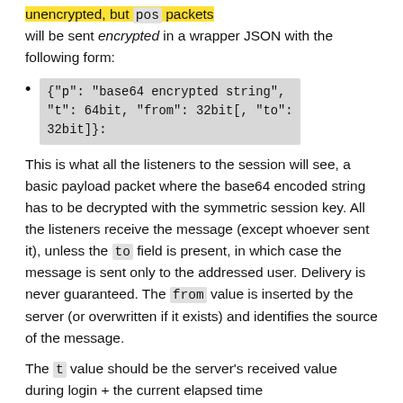unencrypted, but pos packets will be sent encrypted in a wrapper JSON with the following form:
{"p": "base64 encrypted string", "t": 64bit, "from": 32bit[, "to": 32bit]}:
This is what all the listeners to the session will see, a basic payload packet where the base64 encoded string has to be decrypted with the symmetric session key. All the listeners receive the message (except whoever sent it), unless the to field is present, in which case the message is sent only to the addressed user. Delivery is never guaranteed. The from value is inserted by the server (or overwritten if it exists) and identifies the source of the message.
The t value should be the server's received value during login + the current elapsed time